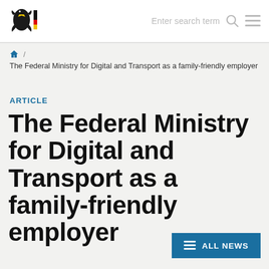Enter search term  ☰
🏠 / The Federal Ministry for Digital and Transport as a family-friendly employer
ARTICLE
The Federal Ministry for Digital and Transport as a family-friendly employer
ALL NEWS